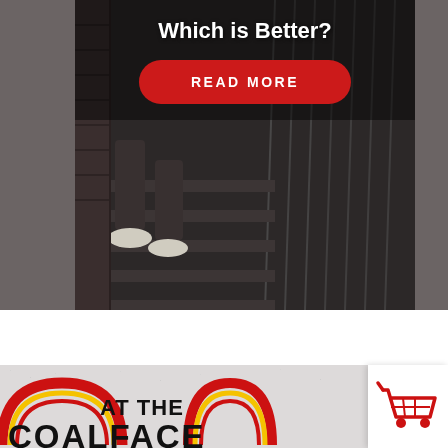[Figure (photo): Dark photograph of a person sitting on stairs, showing legs and white sneakers. Dark moody tones. Contains text overlay 'Which is Better?' and a red READ MORE button.]
[Figure (logo): At The Coalface logo with red and yellow rainbow arch graphic on a light textured background. Shopping cart icon in white box on the right.]